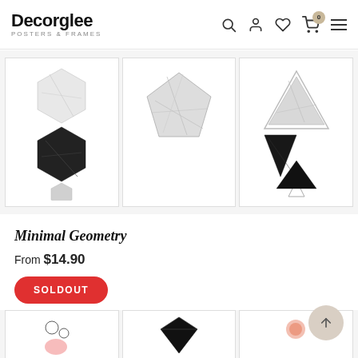Decorglee Posters & Frames
[Figure (photo): Three framed art posters showing minimal geometry: hexagons in marble texture, pentagon in marble texture, and triangles in marble texture (black and white)]
Minimal Geometry
From $14.90
SOLDOUT
[Figure (photo): Partial view of three more product art posters at bottom of page]